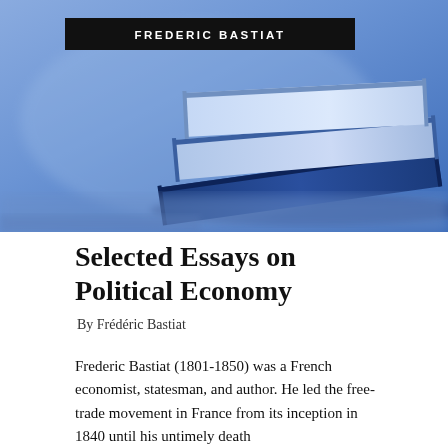[Figure (photo): Stack of blue-toned books photographed from a low angle against a soft blue blurred background]
FREDERIC BASTIAT
Selected Essays on Political Economy
By Frédéric Bastiat
Frederic Bastiat (1801-1850) was a French economist, statesman, and author. He led the free-trade movement in France from its inception in 1840 until his untimely death